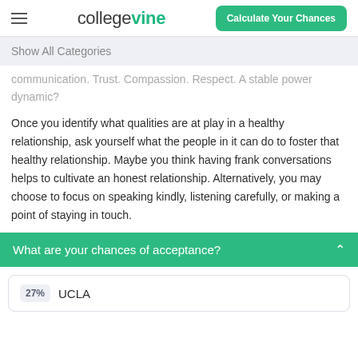collegevine | Calculate Your Chances
Show All Categories
communication. Trust. Compassion. Respect. A stable power dynamic?
Once you identify what qualities are at play in a healthy relationship, ask yourself what the people in it can do to foster that healthy relationship. Maybe you think having frank conversations helps to cultivate an honest relationship. Alternatively, you may choose to focus on speaking kindly, listening carefully, or making a point of staying in touch.
What are your chances of acceptance?
27% UCLA